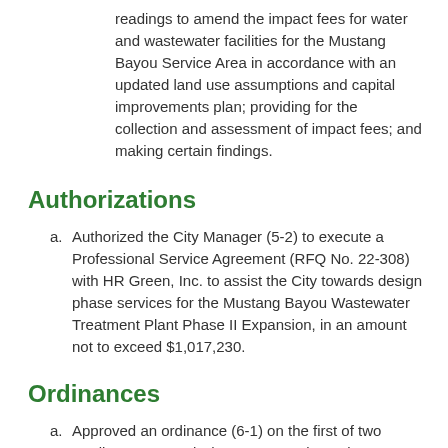readings to amend the impact fees for water and wastewater facilities for the Mustang Bayou Service Area in accordance with an updated land use assumptions and capital improvements plan; providing for the collection and assessment of impact fees; and making certain findings.
Authorizations
a. Authorized the City Manager (5-2) to execute a Professional Service Agreement (RFQ No. 22-308) with HR Green, Inc. to assist the City towards design phase services for the Mustang Bayou Wastewater Treatment Plant Phase II Expansion, in an amount not to exceed $1,017,230.
Ordinances
a. Approved an ordinance (6-1) on the first of two readings to amend Chapter 74, Parks and Recreation of the Missouri City Code; amending the rules and regulations regarding parks and recreation facilities licensing.